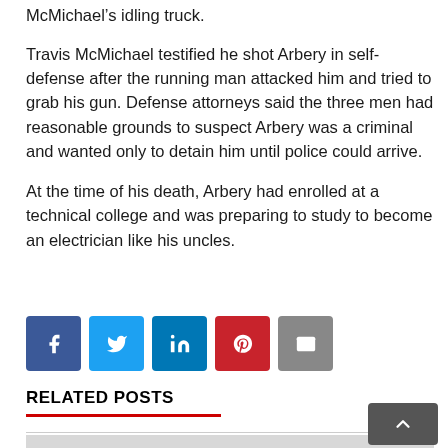McMichael’s idling truck.
Travis McMichael testified he shot Arbery in self-defense after the running man attacked him and tried to grab his gun. Defense attorneys said the three men had reasonable grounds to suspect Arbery was a criminal and wanted only to detain him until police could arrive.
At the time of his death, Arbery had enrolled at a technical college and was preparing to study to become an electrician like his uncles.
[Figure (other): Social sharing buttons: Facebook, Twitter, LinkedIn, Pinterest, Email]
RELATED POSTS
[Figure (photo): Related post image placeholder (gray rectangle)]